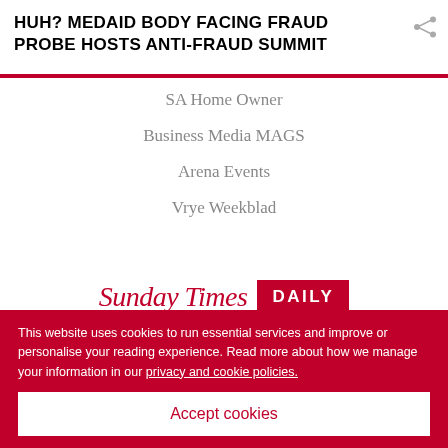HUH? MEDAID BODY FACING FRAUD PROBE HOSTS ANTI-FRAUD SUMMIT
SA Home Owner
Business Media MAGS
Arena Events
Vrye Weekblad
[Figure (logo): Sunday Times Daily logo — 'Sunday Times' in red italic serif font, 'DAILY' in white text on red background badge]
[Figure (infographic): Two grey circular social media icons — Facebook (f) and Twitter (bird)]
This website uses cookies to run essential services and improve or personalise your reading experience. Read more about how we manage your information in our privacy and cookie policies.
Accept cookies